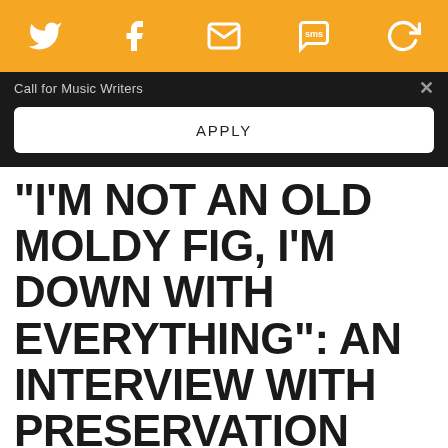Social share bar with Twitter, Facebook, Email, SMS, and another icon
Call for Music Writers
APPLY
“I’M NOT AN OLD MOLDY FIG, I’M DOWN WITH EVERYTHING”: AN INTERVIEW WITH PRESERVATION HALL JAZZ BAND
By John Garratt / 27 August 2013